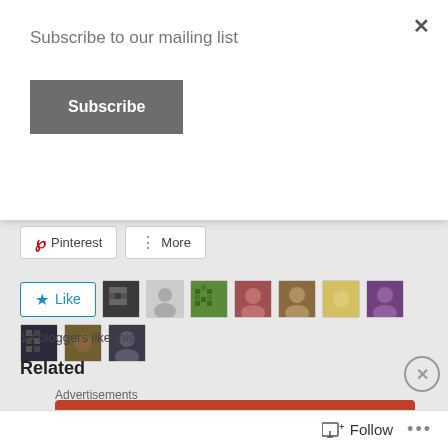Subscribe to our mailing list
Subscribe
[Figure (screenshot): Pinterest and More social share buttons]
[Figure (screenshot): Like button with 10 blogger avatar thumbnails]
13 bloggers like this.
Related
Advertisements
[Figure (screenshot): DuckDuckGo ad banner: Search, browse, and email with more privacy. All in One Free App.]
Follow